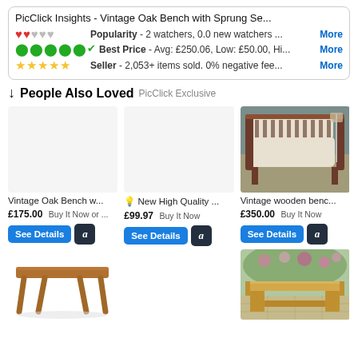PicClick Insights - Vintage Oak Bench with Sprung Se...
Popularity - 2 watchers, 0.0 new watchers ... More
Best Price - Avg: £250.06, Low: £50.00, Hi... More
Seller - 2,053+ items sold. 0% negative fee... More
↓ People Also Loved PicClick Exclusive
Vintage Oak Bench w... £175.00 Buy It Now or ...
💡 New High Quality ... £99.97 Buy It Now
Vintage wooden benc... £350.00 Buy It Now
[Figure (photo): Product listing image placeholder (empty/white)]
[Figure (photo): Product listing image placeholder (empty/white)]
[Figure (photo): Photo of a vintage wooden bench/settee, cream upholstery, dark wood frame, light grey background]
[Figure (photo): Photo of a simple light wood rectangular bench with four legs]
[Figure (photo): Photo of a rustic wooden bench outdoors, natural wood, garden background]